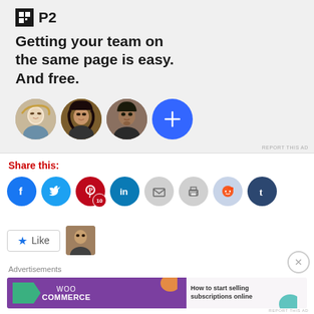[Figure (screenshot): P2 product advertisement banner with logo, headline 'Getting your team on the same page is easy. And free.' and three user avatars plus a blue plus button]
REPORT THIS AD
Share this:
[Figure (infographic): Row of social sharing icons: Facebook, Twitter, Pinterest (with badge 10), LinkedIn, Email, Print, Reddit, Tumblr]
[Figure (screenshot): Like button with star icon and user thumbnail photo]
Advertisements
[Figure (screenshot): WooCommerce advertisement banner: 'How to start selling subscriptions online']
REPORT THIS AD